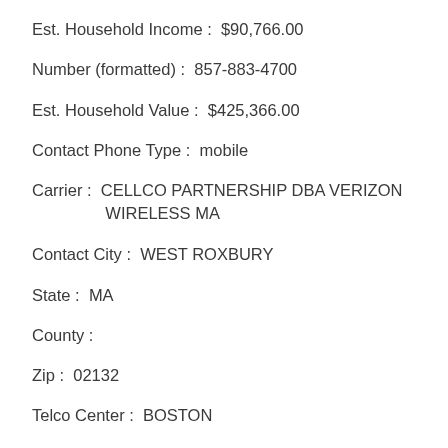Est. Household Income :  $90,766.00
Number (formatted) :  857-883-4700
Est. Household Value :  $425,366.00
Contact Phone Type :  mobile
Carrier :  CELLCO PARTNERSHIP DBA VERIZON WIRELESS MA
Contact City :  WEST ROXBURY
State :  MA
County :
Zip :  02132
Telco Center :  BOSTON
Format :  (857) 883-4700